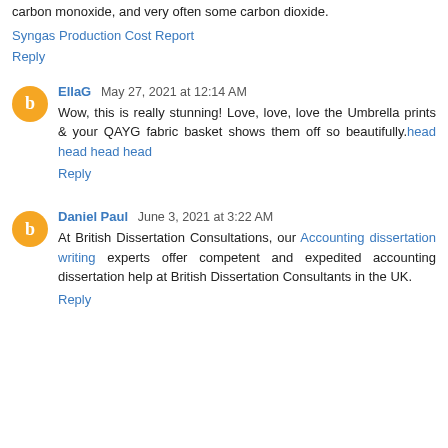carbon monoxide, and very often some carbon dioxide.
Syngas Production Cost Report
Reply
EllaG May 27, 2021 at 12:14 AM
Wow, this is really stunning! Love, love, love the Umbrella prints & your QAYG fabric basket shows them off so beautifully.head head head head
Reply
Daniel Paul June 3, 2021 at 3:22 AM
At British Dissertation Consultations, our Accounting dissertation writing experts offer competent and expedited accounting dissertation help at British Dissertation Consultants in the UK.
Reply